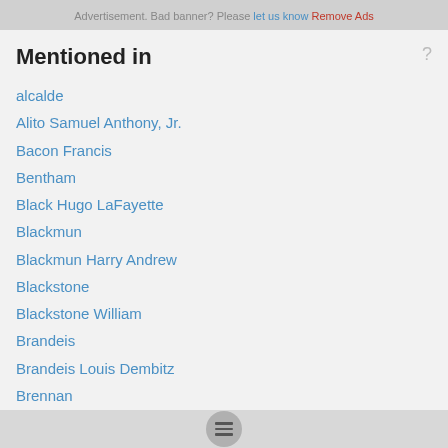Advertisement. Bad banner? Please let us know Remove Ads
Mentioned in
alcalde
Alito Samuel Anthony, Jr.
Bacon Francis
Bentham
Black Hugo LaFayette
Blackmun
Blackmun Harry Andrew
Blackstone
Blackstone William
Brandeis
Brandeis Louis Dembitz
Brennan
References in classic literature